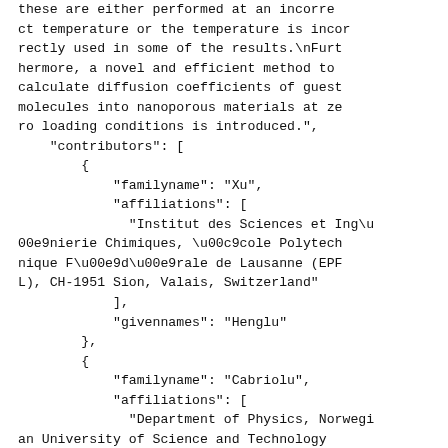these are either performed at an incorrect temperature or the temperature is incorrectly used in some of the results.\nFurthermore, a novel and efficient method to calculate diffusion coefficients of guest molecules into nanoporous materials at zero loading conditions is introduced.",
    "contributors": [
        {
            "familyname": "Xu",
            "affiliations": [
              "Institut des Sciences et Ing\u00e9nierie Chimiques, \u00c9cole Polytechnique F\u00e9d\u00e9rale de Lausanne (EPFL), CH-1951 Sion, Valais, Switzerland"
            ],
            "givennames": "Henglu"
        },
        {
            "familyname": "Cabriolu",
            "affiliations": [
              "Department of Physics, Norwegian University of Science and Technology (NTNU), H\u00f8gskoleringen 5, Realfagbygget D5-149, 7491 Trondheim, Norway",